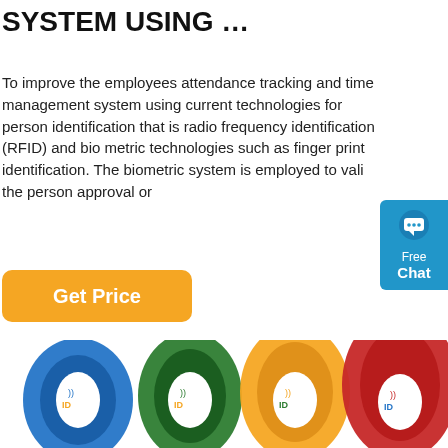SYSTEM USING …
To improve the employees attendance tracking and time management system using current technologies for person identification that is radio frequency identification (RFID) and bio metric technologies such as finger print identification. The biometric system is employed to vali the person approval or
[Figure (other): Orange 'Get Price' button]
[Figure (other): Blue 'Free Chat' widget on the right side]
[Figure (photo): Four colorful RFID wristbands (blue, green, orange, red) with RFID logo on white circular tag, partially cropped at bottom of page]